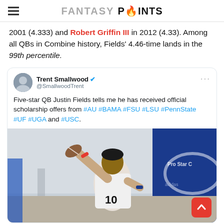FANTASY POINTS
2001 (4.333) and Robert Griffin III in 2012 (4.33). Among all QBs in Combine history, Fields' 4.46-time lands in the 99th percentile.
[Figure (screenshot): Embedded tweet from @SmallwoodTrent (Trent Smallwood) reading: Five-star QB Justin Fields tells me he has received official scholarship offers from #AU #BAMA #FSU #LSU #PennState #UF #UGA and #USC. Includes a photo of Justin Fields in white jersey #10 throwing a football at an indoor facility.]